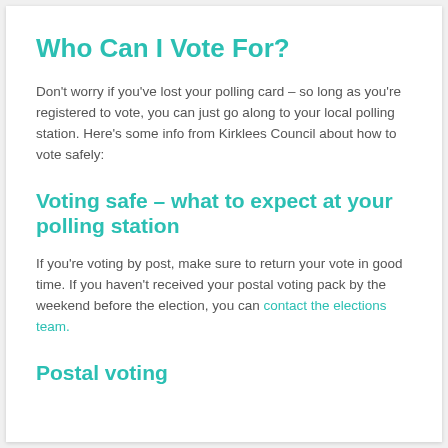Who Can I Vote For?
Don't worry if you've lost your polling card – so long as you're registered to vote, you can just go along to your local polling station. Here's some info from Kirklees Council about how to vote safely:
Voting safe – what to expect at your polling station
If you're voting by post, make sure to return your vote in good time. If you haven't received your postal voting pack by the weekend before the election, you can contact the elections team.
Postal voting